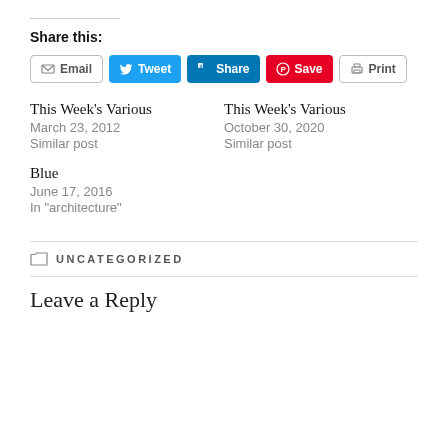Share this:
[Figure (other): Social sharing buttons: Email, Tweet (Twitter), Share (LinkedIn), Save (Pinterest), Print]
This Week's Various
March 23, 2012
Similar post
This Week's Various
October 30, 2020
Similar post
Blue
June 17, 2016
In "architecture"
UNCATEGORIZED
Leave a Reply